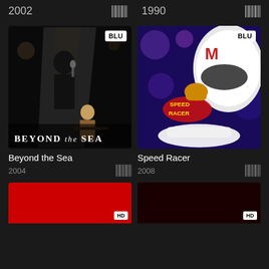2002
1990
[Figure (photo): Movie poster for Beyond the Sea (2004) - dark nightclub scene with man at microphone and blonde woman seated at table. BLU badge top right. Title text at bottom: BEYOND the SEA]
[Figure (photo): Movie poster for Speed Racer (2008) - colorful poster with white racing helmet with red M logo, white race car, Speed Racer logo text in red. BLU badge top right.]
Beyond the Sea
2004
Speed Racer
2008
[Figure (photo): Partial movie poster with red background. HD badge visible.]
[Figure (photo): Partial movie poster with dark red/black background. HD badge visible.]